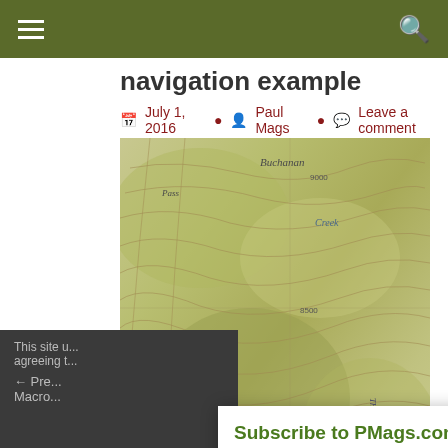Navigation Example
July 1, 2016  Paul Mags  Leave a comment
[Figure (map): Topographic map showing terrain with contour lines, labeled features including 'Buchanan' and 'Creek', with a small blue lake/tarn visible]
This site u... agreeing t...
← Pre... Macro...
[Figure (infographic): Subscribe to PMags.com popup overlay with close button, description text, and CLICK HERE TO SUBSCRIBE button]